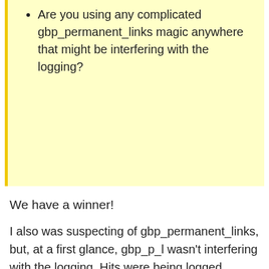Are you using any complicated gbp_permanent_links magic anywhere that might be interfering with the logging?
We have a winner!
I also was suspecting of gbp_permanent_links, but, at a first glance, gbp_p_l wasn't interfering with the logging. Hits were being logged successfully, so there was nothing suspicious there. I also sneak-peeked at smd_lately plugin code and see that “url_title” was a key element on the fetching of logs, so definitely there was a clue on that path…
So, after reading your question, I temporarely disabled gbp_p_l but nothing changed.